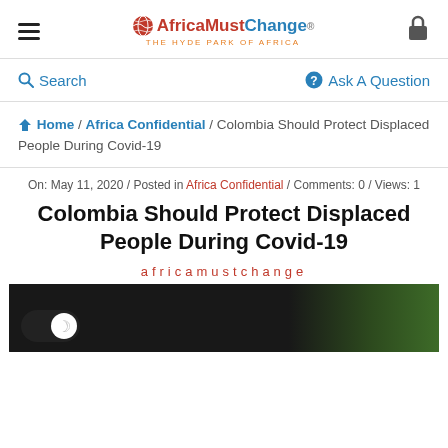AfricaMustChange® THE HYDE PARK OF AFRICA
Search   Ask A Question
Home / Africa Confidential / Colombia Should Protect Displaced People During Covid-19
On: May 11, 2020 / Posted in Africa Confidential / Comments: 0 / Views: 1
Colombia Should Protect Displaced People During Covid-19
africamustchange
[Figure (photo): Dark photo of a structure/building with green vegetation visible on the right side. Dark mode toggle button visible at bottom left.]